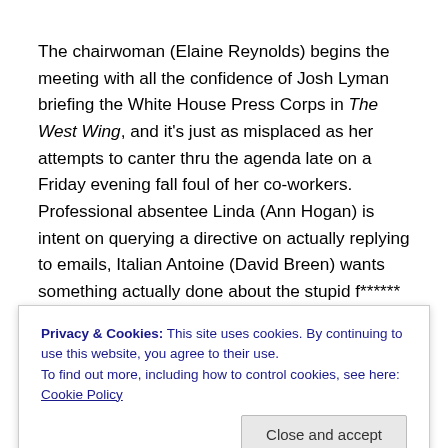The chairwoman (Elaine Reynolds) begins the meeting with all the confidence of Josh Lyman briefing the White House Press Corps in The West Wing, and it's just as misplaced as her attempts to canter thru the agenda late on a Friday evening fall foul of her co-workers. Professional absentee Linda (Ann Hogan) is intent on querying a directive on actually replying to emails, Italian Antoine (David Breen) wants something actually done about the stupid f****** doors that keep hitting him in the
Privacy & Cookies: This site uses cookies. By continuing to use this website, you agree to their use.
To find out more, including how to control cookies, see here: Cookie Policy
morale. As squabbling intensifies Linda's friend Stephanie